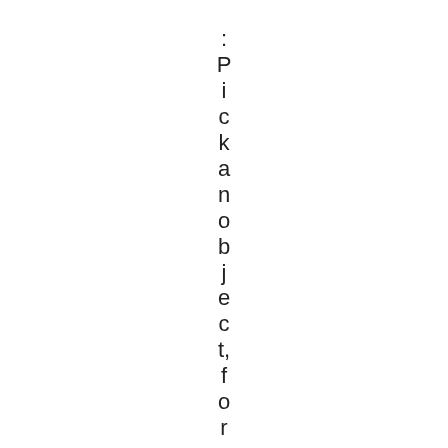:Pick an object, for example a tree